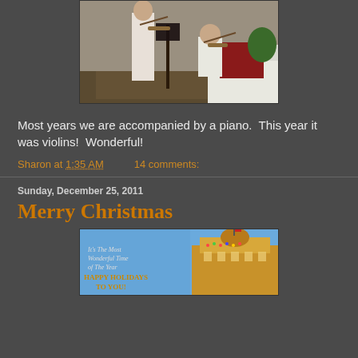[Figure (photo): Two people playing violins indoors. One person standing, one seated. Music stand visible. Indoor living room setting with red cushion on white chair.]
Most years we are accompanied by a piano.  This year it was violins!  Wonderful!
Sharon at 1:35 AM    14 comments:
Sunday, December 25, 2011
Merry Christmas
[Figure (photo): Holiday greeting card image with blue sky background, decorated building. Text reads: It's The Most Wonderful Time of The Year HAPPY HOLIDAYS TO YOU!]